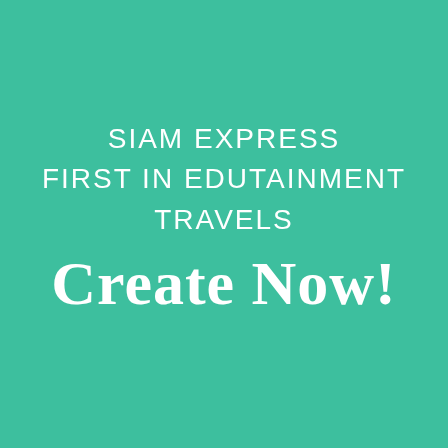SIAM EXPRESS FIRST IN EDUTAINMENT TRAVELS Create Now!